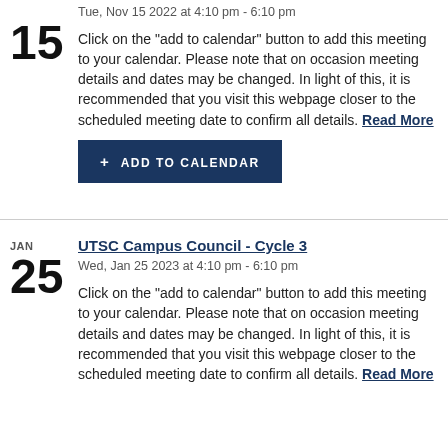Tue, Nov 15 2022 at 4:10 pm - 6:10 pm
Click on the "add to calendar" button to add this meeting to your calendar. Please note that on occasion meeting details and dates may be changed. In light of this, it is recommended that you visit this webpage closer to the scheduled meeting date to confirm all details. Read More
+ ADD TO CALENDAR
UTSC Campus Council - Cycle 3
Wed, Jan 25 2023 at 4:10 pm - 6:10 pm
Click on the "add to calendar" button to add this meeting to your calendar. Please note that on occasion meeting details and dates may be changed. In light of this, it is recommended that you visit this webpage closer to the scheduled meeting date to confirm all details. Read More